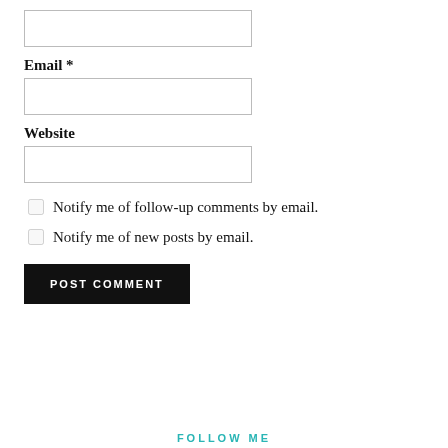[Figure (screenshot): A text input box (empty, with border) at the top of the page, representing a form field (likely Name).]
Email *
[Figure (screenshot): A text input box (empty, with border) for Email field.]
Website
[Figure (screenshot): A text input box (empty, with border) for Website field.]
Notify me of follow-up comments by email.
Notify me of new posts by email.
POST COMMENT
FOLLOW ME